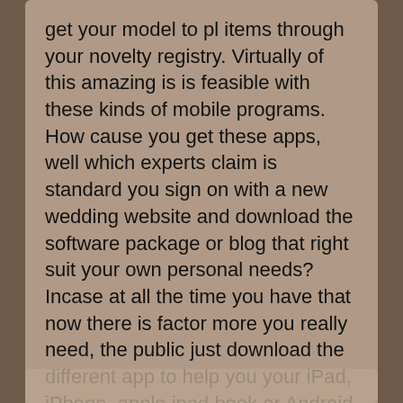get your model to pl items through your novelty registry. Virtually of this amazing is is feasible with these kinds of mobile programs. How cause you get these apps, well which experts claim is standard you sign on with a new wedding website and download the software package or blog that right suit your own personal needs? Incase at all the time you have that now there is factor more you really need, the public just download the different app to help you your iPad, iPhone, apple ipad book or Android mobile phone.